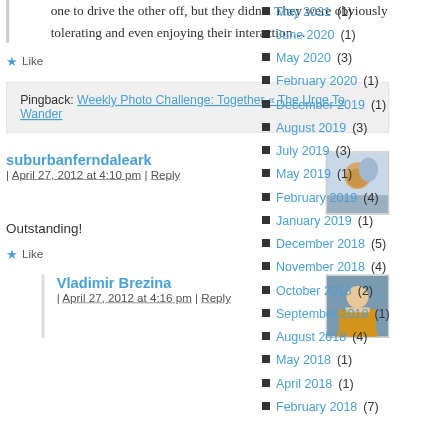one to drive the other off, but they didn't. They were obviously tolerating and even enjoying their interaction…
★ Like
Pingback: Weekly Photo Challenge: Together « The Urge To Wander
suburbanferndaleark | April 27, 2012 at 4:10 pm | Reply
Outstanding!
★ Like
Vladimir Brezina | April 27, 2012 at 4:16 pm | Reply
May 2021 (1)
June 2020 (1)
May 2020 (3)
February 2020 (1)
December 2019 (1)
August 2019 (3)
July 2019 (3)
May 2019 (1)
February 2019 (4)
January 2019 (1)
December 2018 (5)
November 2018 (4)
October 2018 (2)
September 2018 (1)
August 2018 (4)
May 2018 (1)
April 2018 (1)
February 2018 (7)